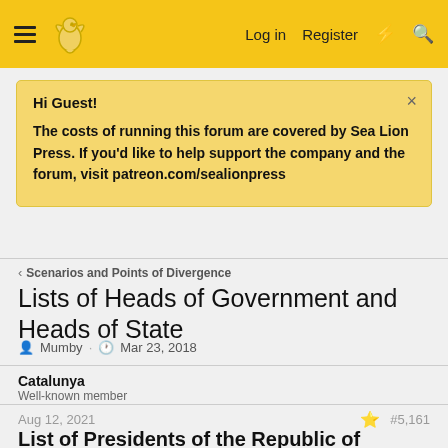Log in  Register
Hi Guest!

The costs of running this forum are covered by Sea Lion Press. If you'd like to help support the company and the forum, visit patreon.com/sealionpress
< Scenarios and Points of Divergence
Lists of Heads of Government and Heads of State
Mumby · Mar 23, 2018
Catalunya
Well-known member
Aug 12, 2021  #5,161
List of Presidents of the Republic of Turkey:
2014 - 2022: Recep Tayyip Erdoğan (Justice and